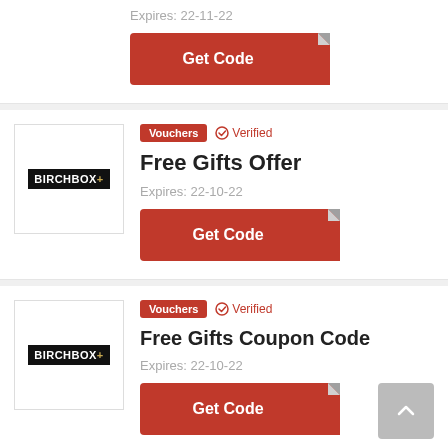Expires: 22-11-22
[Figure (screenshot): Red 'Get Code' button with folded corner effect]
Vouchers  Verified
Free Gifts Offer
Expires: 22-10-22
[Figure (screenshot): Red 'Get Code' button with folded corner effect]
Vouchers  Verified
Free Gifts Coupon Code
Expires: 22-10-22
[Figure (screenshot): Red 'Get Code' button with folded corner effect]